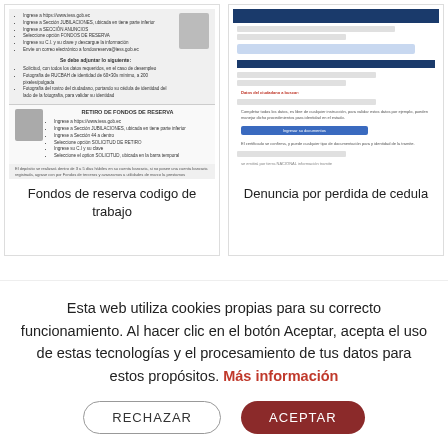[Figure (screenshot): Thumbnail image of a document about Fondos de reserva codigo de trabajo, showing bullet points and a photo of a woman working at a computer]
Fondos de reserva codigo de trabajo
[Figure (screenshot): Thumbnail image of a web form/interface about Denuncia por perdida de cedula, showing a blue-themed government form]
Denuncia por perdida de cedula
Esta web utiliza cookies propias para su correcto funcionamiento. Al hacer clic en el botón Aceptar, acepta el uso de estas tecnologías y el procesamiento de tus datos para estos propósitos. Más información